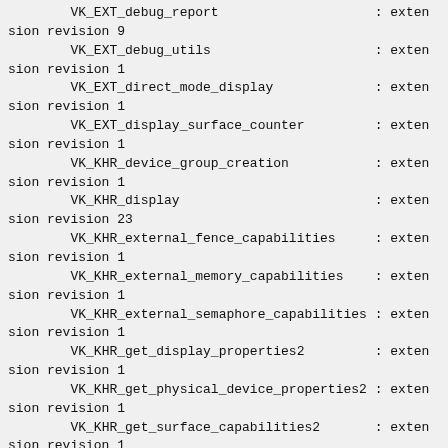VK_EXT_debug_report                    : extension revision 9
        VK_EXT_debug_utils                     : extension revision 1
        VK_EXT_direct_mode_display             : extension revision 1
        VK_EXT_display_surface_counter         : extension revision 1
        VK_KHR_device_group_creation           : extension revision 1
        VK_KHR_display                         : extension revision 23
        VK_KHR_external_fence_capabilities     : extension revision 1
        VK_KHR_external_memory_capabilities    : extension revision 1
        VK_KHR_external_semaphore_capabilities : extension revision 1
        VK_KHR_get_display_properties2         : extension revision 1
        VK_KHR_get_physical_device_properties2 : extension revision 1
        VK_KHR_get_surface_capabilities2       : extension revision 1
        VK_KHR_surface                         : exten